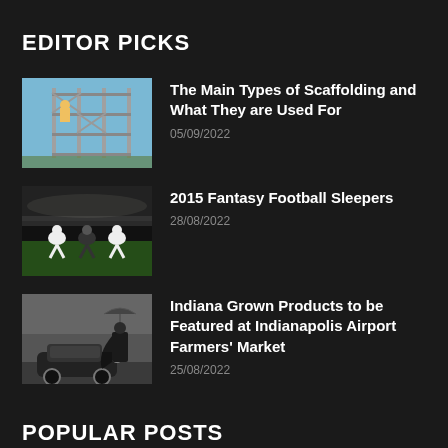EDITOR PICKS
[Figure (photo): A worker on scaffolding structure against blue sky]
The Main Types of Scaffolding and What They are Used For
05/09/2022
[Figure (photo): Football/soccer players in action on a field at night]
2015 Fantasy Football Sleepers
28/08/2022
[Figure (photo): Black and white photo of a person in a cape standing near an old car]
Indiana Grown Products to be Featured at Indianapolis Airport Farmers' Market
25/08/2022
POPULAR POSTS